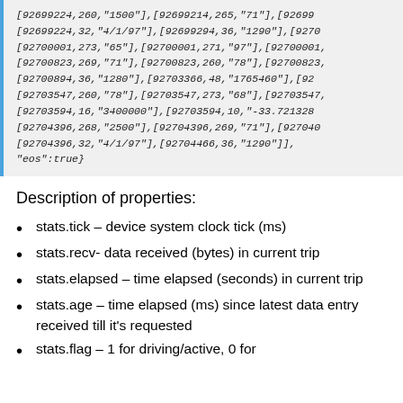[92699224,260,"1500"],[92699214,265,"71"],[92699224,32,"4/1/97"],[92699294,36,"1290"],[92700001,273,"65"],[92700001,271,"97"],[92700001,...],[92700823,269,"71"],[92700823,260,"78"],[92700823,...],[92700894,36,"1280"],[92703366,48,"1765460"],[92703547,260,"78"],[92703547,273,"68"],[92703547,...],[92703594,16,"3400000"],[92703594,10,"-33.721328"],[92704396,268,"2500"],[92704396,269,"71"],[92704396,32,"4/1/97"],[92704466,36,"1290"]],"eos":true}
Description of properties:
stats.tick – device system clock tick (ms)
stats.recv- data received (bytes) in current trip
stats.elapsed – time elapsed (seconds) in current trip
stats.age – time elapsed (ms) since latest data entry received till it's requested
stats.flag – 1 for driving/active, 0 for